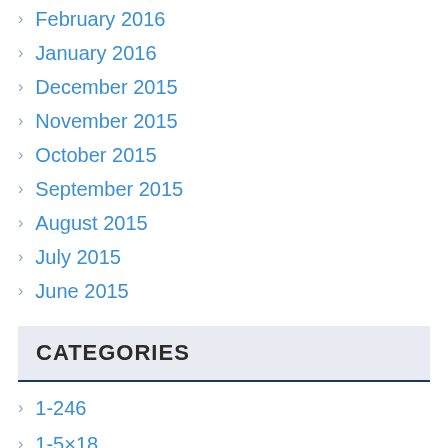February 2016
January 2016
December 2015
November 2015
October 2015
September 2015
August 2015
July 2015
June 2015
CATEGORIES
1-246
1-5×18
10-100×21
10-180×90
10-300x40mm